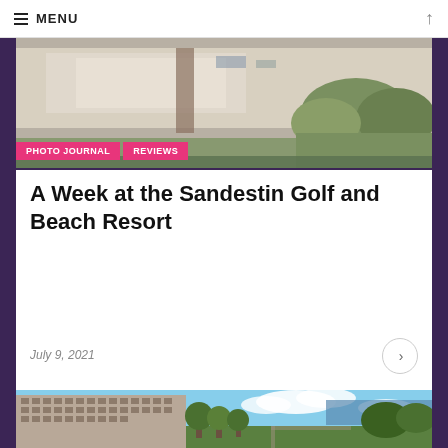MENU
[Figure (photo): Aerial view of a beach with white sand, wooden boardwalk, and green vegetation]
PHOTO JOURNAL | REVIEWS
A Week at the Sandestin Golf and Beach Resort
July 9, 2021
[Figure (photo): Exterior of a large multi-story hotel building with green lawn and water/trees in background under blue sky]